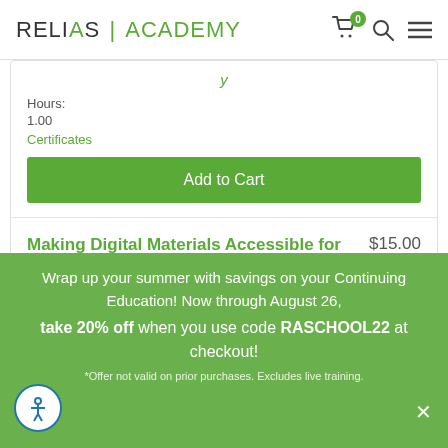RELIAS ACADEMY
Hours:
1.00
Certificates
Add to Cart
Making Digital Materials Accessible for Individuals With Disabilities
$15.00
Wrap up your summer with savings on your Continuing Education! Now through August 26, take 20% off when you use code RASCHOOL22 at checkout!
*Offer not valid on prior purchases. Excludes live training.